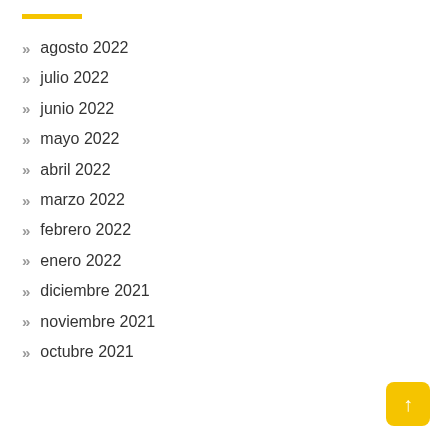agosto 2022
julio 2022
junio 2022
mayo 2022
abril 2022
marzo 2022
febrero 2022
enero 2022
diciembre 2021
noviembre 2021
octubre 2021